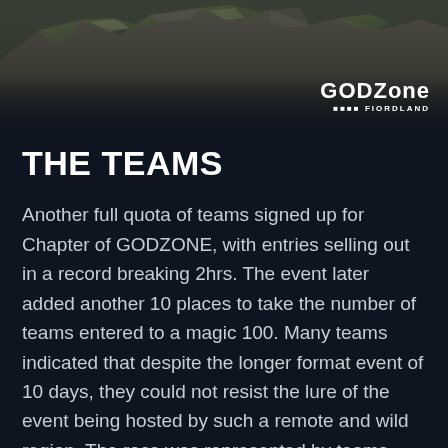[Figure (photo): Aerial or close-up photograph of rocky mountain terrain with moss and grass, used as a header image banner]
GODZone FIORDLAND
THE TEAMS
Another full quota of teams signed up for Chapter of GODZONE, with entries selling out in a record breaking 2hrs. The event later added another 10 places to take the number of teams entered to a magic 100. Many teams indicated that despite the longer format event of 10 days, they could not resist the lure of the event being hosted by such a remote and wild region. The race was represented by teams from 10 nations with a strong contingent from Australia, South Africa and the USA.